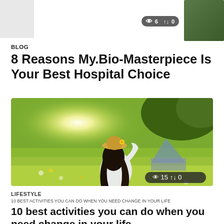[Figure (screenshot): Top portion of a blog website showing two article cards. First card shows a blog post titled '8 Reasons My.Bio-Masterpiece Is Your Best Hospital Choice' with BLOG category label and view/share counts (6 views, 0 shares). Second card shows a LIFESTYLE post with a photo of a woman in a flower field, titled '10 best activities you can do when you need change in your life' with 15 views and 0 shares. Small thumbnail images visible at top corners.]
BLOG
8 Reasons My.Bio-Masterpiece Is Your Best Hospital Choice
[Figure (photo): Woman with long dark hair sitting in a sunny flower field, wearing a white outfit and straw hat with yellow flower, bright sun flare in background, green grass and wildflowers surrounding her]
LIFESTYLE
10 BEST ACTIVITIES YOU CAN DO WHEN YOU NEED CHANGE IN YOUR LIFE
10 best activities you can do when you need change in your life